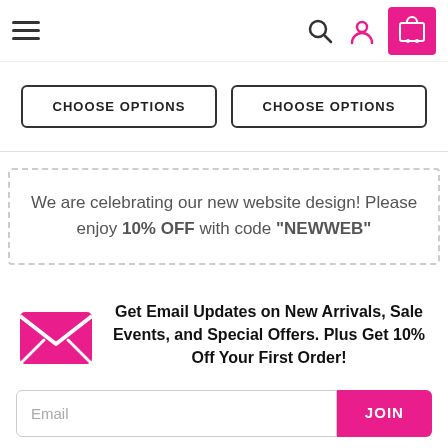Navigation header with hamburger menu, search, user, and cart icons
CHOOSE OPTIONS   CHOOSE OPTIONS
We are celebrating our new website design! Please enjoy 10% OFF with code "NEWWEB"
Get Email Updates on New Arrivals, Sale Events, and Special Offers. Plus Get 10% Off Your First Order!
Email
JOIN